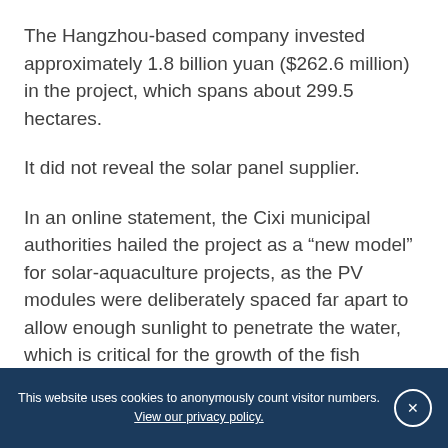The Hangzhou-based company invested approximately 1.8 billion yuan ($262.6 million) in the project, which spans about 299.5 hectares.
It did not reveal the solar panel supplier.
In an online statement, the Cixi municipal authorities hailed the project as a “new model” for solar-aquaculture projects, as the PV modules were deliberately spaced far apart to allow enough sunlight to penetrate the water, which is critical for the growth of the fish beneath the surface.
Construction started in late June and wrapped up in December.
This website uses cookies to anonymously count visitor numbers. View our privacy policy.